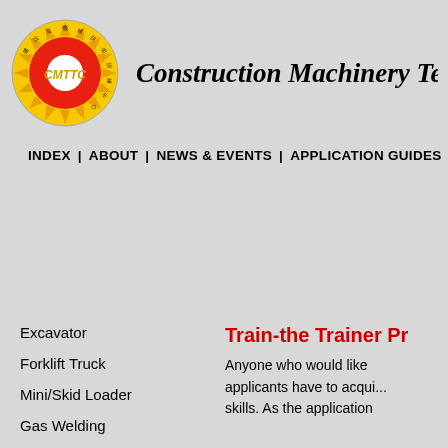[Figure (logo): CMTTC circular logo with yellow/red sun design and Chinese text around the border, with 'CMTTC' letters in the center]
Construction Machinery Techni...
INDEX  |  ABOUT  |  NEWS & EVENTS  |  APPLICATION GUIDES  |  S...
Excavator
Forklift Truck
Mini/Skid Loader
Gas Welding
Train-the Trainer Pr...
Anyone who would like applicants have to acqui... skills. As the application...